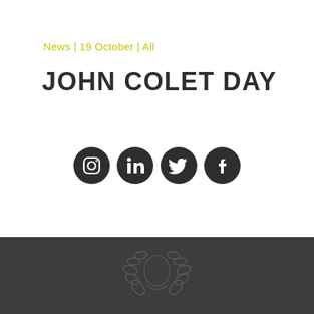News | 19 October | All
JOHN COLET DAY
[Figure (illustration): Four social media icons in dark circles: Instagram, LinkedIn, Twitter, Facebook]
[Figure (logo): Decorative laurel wreath emblem on dark grey footer background]